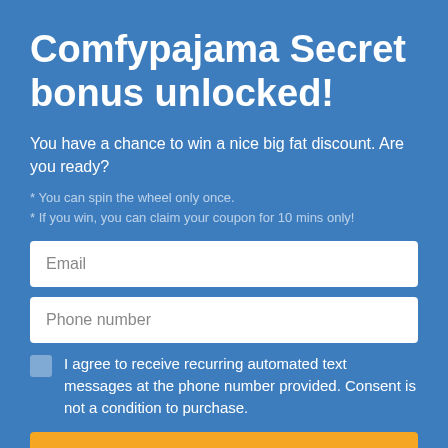Comfypajama Secret bonus unlocked!
You have a chance to win a nice big fat discount. Are you ready?
* You can spin the wheel only once.
* If you win, you can claim your coupon for 10 mins only!
Email
Phone number
I agree to receive recurring automated text messages at the phone number provided. Consent is not a condition to purchase.
TRY YOUR LUCK